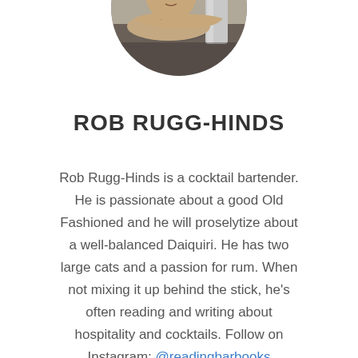[Figure (photo): Circular cropped profile photo of Rob Rugg-Hinds, a person resting their chin on crossed arms on a table, with a silver cylindrical object in the background.]
ROB RUGG-HINDS
Rob Rugg-Hinds is a cocktail bartender. He is passionate about a good Old Fashioned and he will proselytize about a well-balanced Daiquiri. He has two large cats and a passion for rum. When not mixing it up behind the stick, he's often reading and writing about hospitality and cocktails. Follow on Instagram: @readingbarbooks